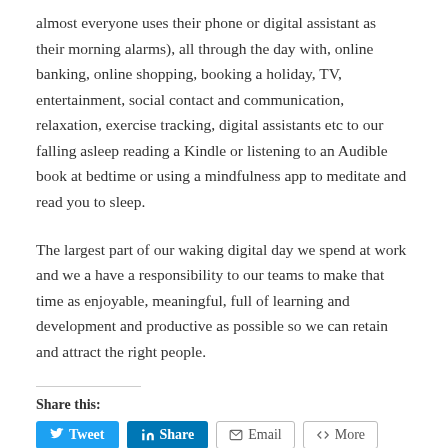almost everyone uses their phone or digital assistant as their morning alarms), all through the day with, online banking, online shopping, booking a holiday, TV, entertainment, social contact and communication, relaxation, exercise tracking, digital assistants etc to our falling asleep reading a Kindle or listening to an Audible book at bedtime or using a mindfulness app to meditate and read you to sleep.
The largest part of our waking digital day we spend at work and we a have a responsibility to our teams to make that time as enjoyable, meaningful, full of learning and development and productive as possible so we can retain and attract the right people.
Share this: